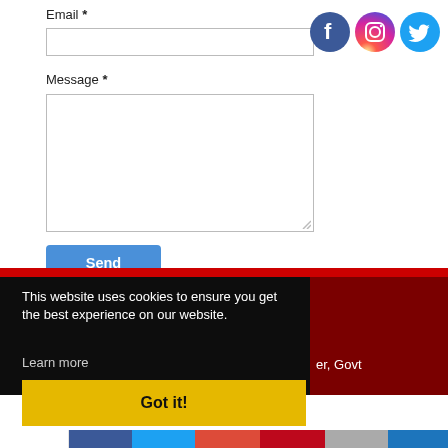Email *
Message *
[Figure (other): Social media icons: Facebook, Instagram, Twitter]
This website uses cookies to ensure you get the best experience on our website.
Learn more
er, Govt
Got it!
Shares